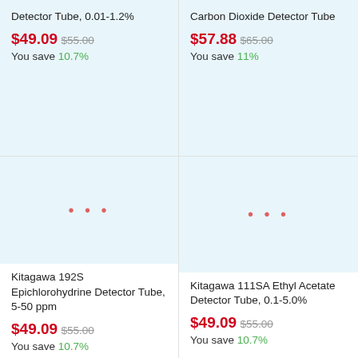Detector Tube, 0.01-1.2%
$49.09  $55.00  You save 10.7%
Carbon Dioxide Detector Tube
$57.88  $65.00  You save 11%
[Figure (illustration): Product image placeholder with three red dots for Kitagawa 192S Epichlorohydrine Detector Tube]
Kitagawa 192S Epichlorohydrine Detector Tube, 5-50 ppm
$49.09  $55.00  You save 10.7%
[Figure (illustration): Product image placeholder with three red dots for Kitagawa 111SA Ethyl Acetate Detector Tube]
Kitagawa 111SA Ethyl Acetate Detector Tube, 0.1-5.0%
$49.09  $55.00  You save 10.7%